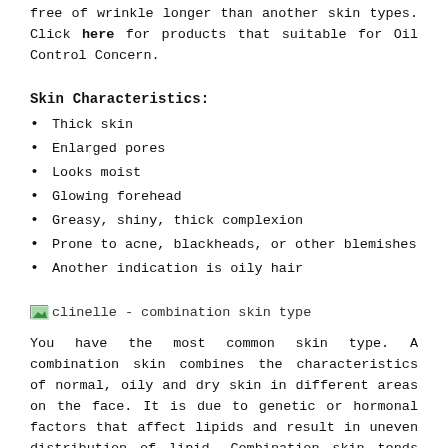free of wrinkle longer than another skin types. Click here for products that suitable for Oil Control Concern.
Skin Characteristics:
Thick skin
Enlarged pores
Looks moist
Glowing forehead
Greasy, shiny, thick complexion
Prone to acne, blackheads, or other blemishes
Another indication is oily hair
[Figure (illustration): clinelle - combination skin type image placeholder]
You have the most common skin type. A combination skin combines the characteristics of normal, oily and dry skin in different areas on the face. It is due to genetic or hormonal factors that affect lipids and result in uneven distribution of lipid. Combination skin tends to have oily skin in T-zone (forehead, nose, and chin) and normal to dry in other areas. This type of skin difficult to manage and confuse most people about what